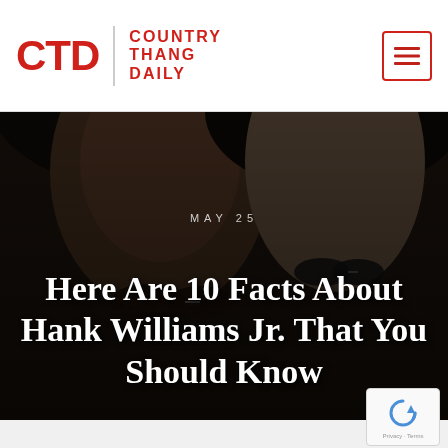CTD | COUNTRY THANG DAILY
[Figure (photo): Black and white / dark-toned hero image showing two men wearing cowboy hats and sunglasses, resembling Hank Williams Jr., overlaid with the article date and title.]
MAY 25
Here Are 10 Facts About Hank Williams Jr. That You Should Know